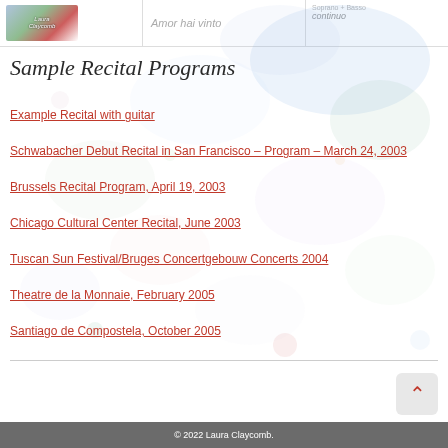| Logo | Amor hai vinto | Soprano + Basso continuo |
| --- | --- | --- |
|  |
Sample Recital Programs
Example Recital with guitar
Schwabacher Debut Recital in San Francisco – Program – March 24, 2003
Brussels Recital Program, April 19, 2003
Chicago Cultural Center Recital, June 2003
Tuscan Sun Festival/Bruges Concertgebouw Concerts 2004
Theatre de la Monnaie, February 2005
Santiago de Compostela, October 2005
© 2022 Laura Claycomb.